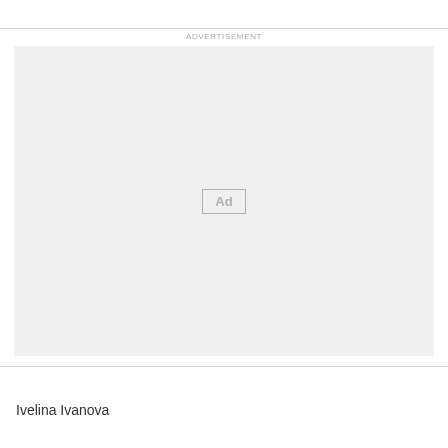ADVERTISEMENT
[Figure (other): Advertisement placeholder box with 'Ad' label in center]
Ivelina Ivanova